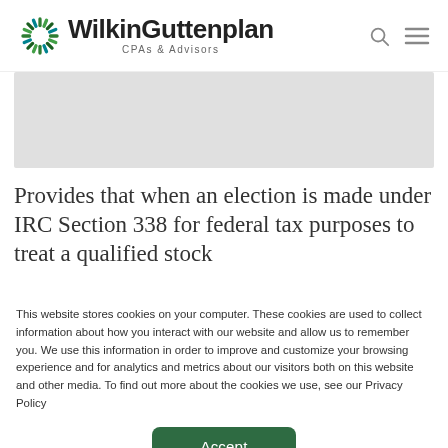WilkinGuttenplan CPAs & Advisors
[Figure (photo): Grey placeholder image area for article header image]
Provides that when an election is made under IRC Section 338 for federal tax purposes to treat a qualified stock
This website stores cookies on your computer. These cookies are used to collect information about how you interact with our website and allow us to remember you. We use this information in order to improve and customize your browsing experience and for analytics and metrics about our visitors both on this website and other media. To find out more about the cookies we use, see our Privacy Policy
Accept